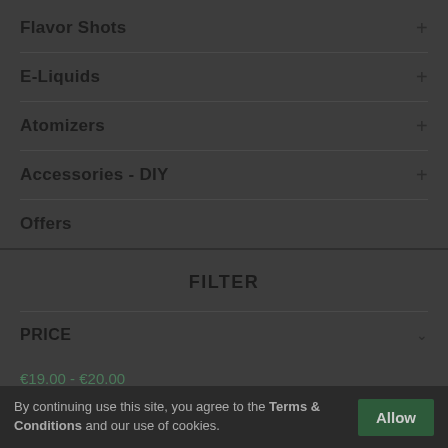Flavor Shots
E-Liquids
Atomizers
Accessories - DIY
Offers
FILTER
PRICE
€19.00 - €20.00
By continuing use this site, you agree to the Terms & Conditions and our use of cookies.